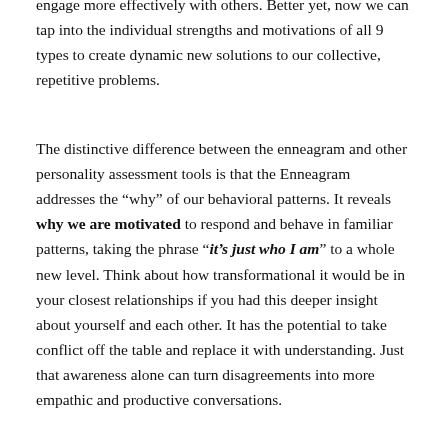engage more effectively with others. Better yet, now we can tap into the individual strengths and motivations of all 9 types to create dynamic new solutions to our collective, repetitive problems.
The distinctive difference between the enneagram and other personality assessment tools is that the Enneagram addresses the “why” of our behavioral patterns. It reveals why we are motivated to respond and behave in familiar patterns, taking the phrase “it’s just who I am” to a whole new level. Think about how transformational it would be in your closest relationships if you had this deeper insight about yourself and each other. It has the potential to take conflict off the table and replace it with understanding. Just that awareness alone can turn disagreements into more empathic and productive conversations.
...